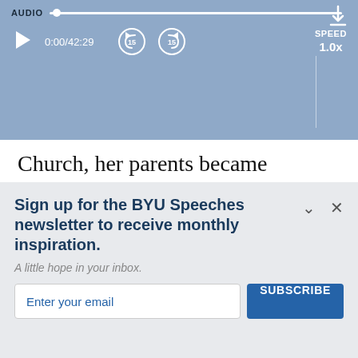[Figure (screenshot): Audio player bar with play button, time display 0:00/42:29, skip back 15s button, skip forward 15s button, speed 1.0x control, and download icon. Displayed on blue background.]
Church, her parents became embittered and angry, disowning her and refusing to allow her to ever return to their home or even to correspond with them. During the Saints’ days in Nauvoo, Catherine became extrem…
Sign up for the BYU Speeches newsletter to receive monthly inspiration.
A little hope in your inbox.
Enter your email
SUBSCRIBE